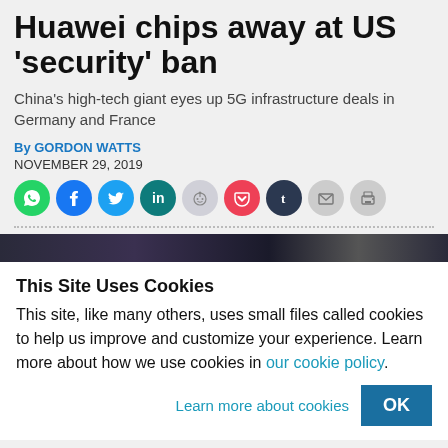Huawei chips away at US 'security' ban
China's high-tech giant eyes up 5G infrastructure deals in Germany and France
By GORDON WATTS
NOVEMBER 29, 2019
[Figure (other): Social sharing icons row: WhatsApp (green), Facebook (blue), Twitter (cyan), LinkedIn (teal), Reddit (light grey), Pocket (red), Tumblr (dark navy), Email (grey), Print (grey)]
[Figure (photo): Partial image strip at bottom of article area, dark colors]
This Site Uses Cookies
This site, like many others, uses small files called cookies to help us improve and customize your experience. Learn more about how we use cookies in our cookie policy.
Learn more about cookies
OK